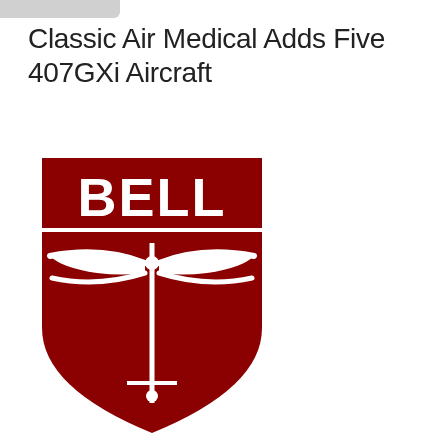Classic Air Medical Adds Five 407GXi Aircraft
[Figure (logo): Bell helicopter logo — red shield shape with white 'BELL' text at top and white dragonfly/helicopter silhouette graphic below]